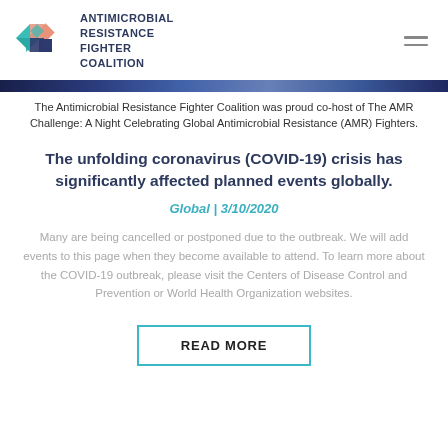ANTIMICROBIAL RESISTANCE FIGHTER COALITION
[Figure (logo): Antimicrobial Resistance Fighter Coalition logo — geometric diamond shapes in teal, salmon/peach, and dark navy blue]
The Antimicrobial Resistance Fighter Coalition was proud co-host of The AMR Challenge: A Night Celebrating Global Antimicrobial Resistance (AMR) Fighters.
The unfolding coronavirus (COVID-19) crisis has significantly affected planned events globally.
Global | 3/10/2020
Many are being cancelled or postponed due to the outbreak. We will add events to this page when they become available to attend. To learn more about the COVID-19 outbreak, please visit the Centers of Disease Control and Prevention or World Health Organization websites.
READ MORE